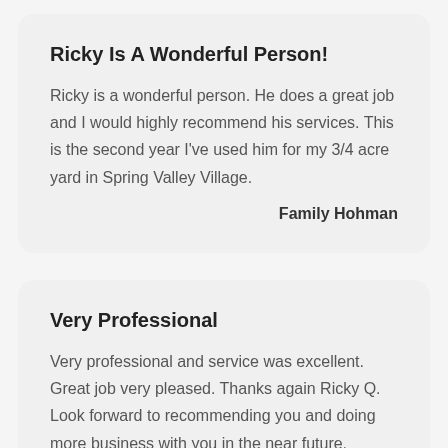Ricky Is A Wonderful Person!
Ricky is a wonderful person. He does a great job and I would highly recommend his services. This is the second year I've used him for my 3/4 acre yard in Spring Valley Village.
Family Hohman
Very Professional
Very professional and service was excellent. Great job very pleased. Thanks again Ricky Q. Look forward to recommending you and doing more business with you in the near future.